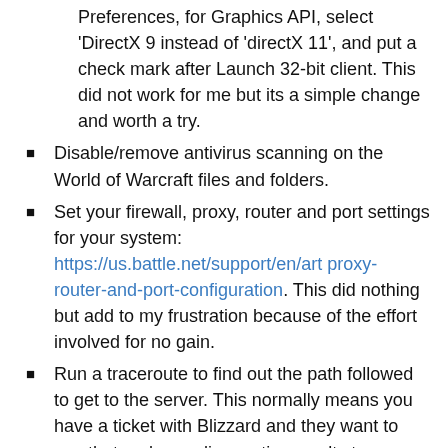Preferences, for Graphics API, select 'DirectX 9 instead of 'directX 11', and put a check mark after Launch 32-bit client. This did not work for me but its a simple change and worth a try.
Disable/remove antivirus scanning on the World of Warcraft files and folders.
Set your firewall, proxy, router and port settings for your system: https://us.battle.net/support/en/art proxy-router-and-port-configuration. This did nothing but add to my frustration because of the effort involved for no gain.
Run a traceroute to find out the path followed to get to the server. This normally means you have a ticket with Blizzard and they want to see that and your diagnostics results to ensure that you have the appropriate hardware to run the